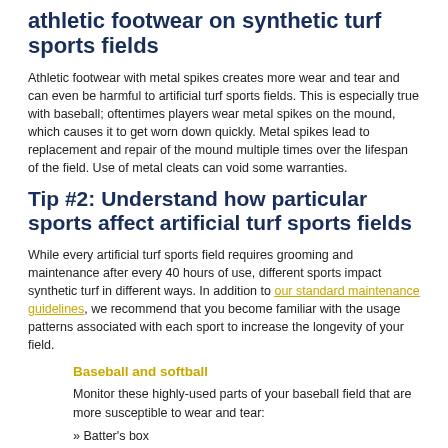athletic footwear on synthetic turf sports fields
Athletic footwear with metal spikes creates more wear and tear and can even be harmful to artificial turf sports fields. This is especially true with baseball; oftentimes players wear metal spikes on the mound, which causes it to get worn down quickly. Metal spikes lead to replacement and repair of the mound multiple times over the lifespan of the field. Use of metal cleats can void some warranties.
Tip #2: Understand how particular sports affect artificial turf sports fields
While every artificial turf sports field requires grooming and maintenance after every 40 hours of use, different sports impact synthetic turf in different ways. In addition to our standard maintenance guidelines, we recommend that you become familiar with the usage patterns associated with each sport to increase the longevity of your field.
Baseball and softball
Monitor these highly-used parts of your baseball field that are more susceptible to wear and tear:
» Batter's box
[Figure (photo): Photo strip showing a baseball field with synthetic turf and dirt areas, two panels side by side.]